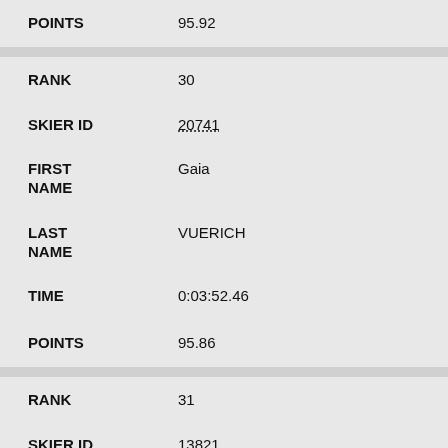POINTS: 95.92
RANK: 30
SKIER ID: 20741
FIRST NAME: Gaia
LAST NAME: VUERICH
TIME: 0:03:52.46
POINTS: 95.86
RANK: 31
SKIER ID: 13821
FIRST: Justyna